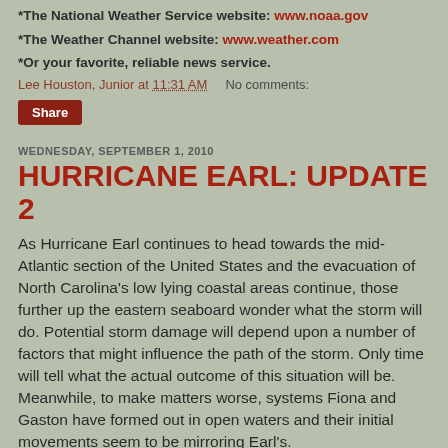*The National Weather Service website: www.noaa.gov
*The Weather Channel website: www.weather.com
*Or your favorite, reliable news service.
Lee Houston, Junior at 11:31 AM    No comments:
Share
WEDNESDAY, SEPTEMBER 1, 2010
HURRICANE EARL: UPDATE 2
As Hurricane Earl continues to head towards the mid-Atlantic section of the United States and the evacuation of North Carolina's low lying coastal areas continue, those further up the eastern seaboard wonder what the storm will do. Potential storm damage will depend upon a number of factors that might influence the path of the storm. Only time will tell what the actual outcome of this situation will be. Meanwhile, to make matters worse, systems Fiona and Gaston have formed out in open waters and their initial movements seem to be mirroring Earl's.